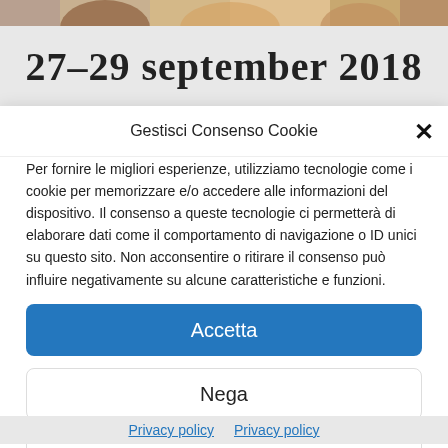[Figure (photo): Partial view of people's faces/hair in a banner at the top of the page]
27-29 september 2018
Gestisci Consenso Cookie
Per fornire le migliori esperienze, utilizziamo tecnologie come i cookie per memorizzare e/o accedere alle informazioni del dispositivo. Il consenso a queste tecnologie ci permetterà di elaborare dati come il comportamento di navigazione o ID unici su questo sito. Non acconsentire o ritirare il consenso può influire negativamente su alcune caratteristiche e funzioni.
Accetta
Nega
Visualizza le preferenze
Privacy policy  Privacy policy